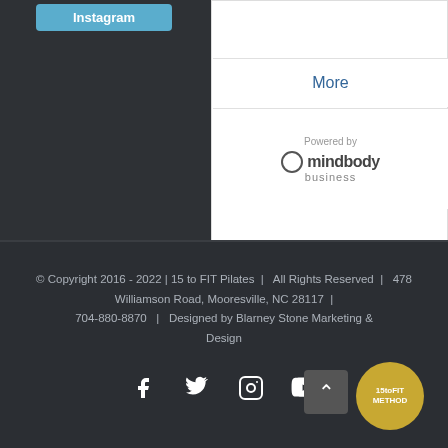[Figure (screenshot): Instagram button (blue) in top left corner]
[Figure (screenshot): MindBody business widget panel with More link and Powered by mindbody business logo]
© Copyright 2016 - 2022 | 15 to FIT Pilates | All Rights Reserved | 478 Williamson Road, Mooresville, NC 28117 | 704-880-8870 | Designed by Blarney Stone Marketing & Design
[Figure (infographic): Social media icons: Facebook, Twitter, Instagram, YouTube. Scroll-to-top button (arrow up). 15toFIT Method logo circle.]